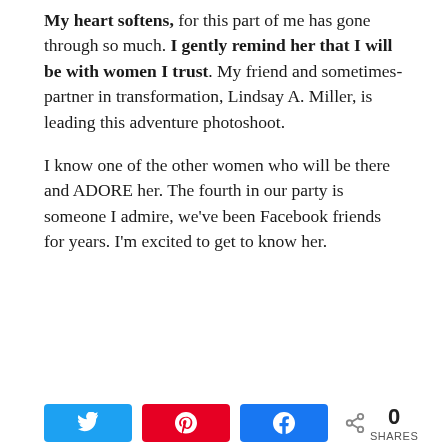My heart softens, for this part of me has gone through so much. I gently remind her that I will be with women I trust. My friend and sometimes-partner in transformation, Lindsay A. Miller, is leading this adventure photoshoot.
I know one of the other women who will be there and ADORE her. The fourth in our party is someone I admire, we've been Facebook friends for years. I'm excited to get to know her.